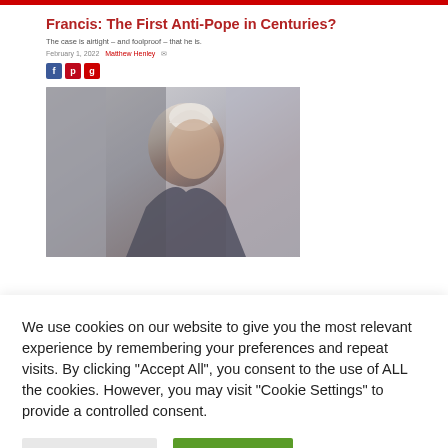Francis: The First Anti-Pope in Centuries?
The case is airtight – and foolproof – that he is.
February 1, 2022  Matthew Henley
[Figure (photo): Dark silhouette/profile photo of a man wearing a white papal zucchetto (skullcap), partially lit from behind, with a soft blurred background.]
We use cookies on our website to give you the most relevant experience by remembering your preferences and repeat visits. By clicking "Accept All", you consent to the use of ALL the cookies. However, you may visit "Cookie Settings" to provide a controlled consent.